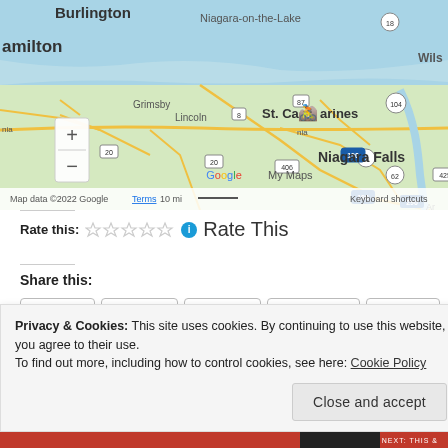[Figure (map): Google Maps view showing the Niagara region including Burlington, Hamilton, Grimsby, Lincoln, St. Catharines, Niagara-on-the-Lake, Niagara Falls. Roads, water bodies, and route markers (8, 20, 87, 104, 190, 406, 290, 31, 62, 425, 18) visible. Zoom controls (+/-) on left side. Google My Maps attribution and map data copyright 2022 Google Terms 10mi scale bar at bottom.]
Rate this: ☆☆☆☆☆ ℹ Rate This
Share this:
Twitter Pocket Tumblr Facebook Reddit
Privacy & Cookies: This site uses cookies. By continuing to use this website, you agree to their use.
To find out more, including how to control cookies, see here: Cookie Policy
Close and accept